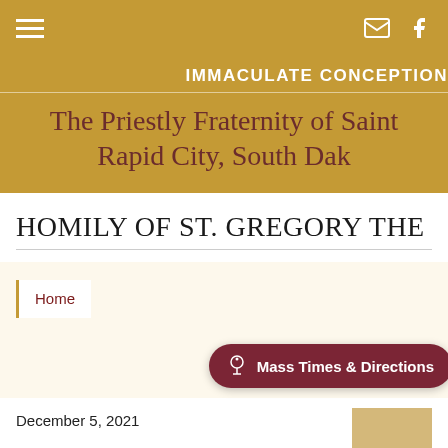Navigation bar with hamburger menu, email icon, and Facebook icon
IMMACULATE CONCEPTION
The Priestly Fraternity of Saint Peter – Rapid City, South Dakota
HOMILY OF ST. GREGORY THE
Home
Mass Times & Directions
December 5, 2021